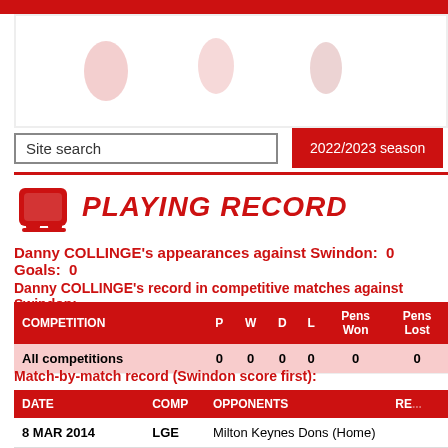[Figure (screenshot): Top decorative image area with red border and partial player/logo images visible at top]
Site search
2022/2023 season
PLAYING RECORD
Danny COLLINGE's appearances against Swindon:  0   Goals:  0
Danny COLLINGE's record in competitive matches against Swindon:
| COMPETITION | P | W | D | L | Pens Won | Pens Lost |
| --- | --- | --- | --- | --- | --- | --- |
| All competitions | 0 | 0 | 0 | 0 | 0 | 0 |
Match-by-match record (Swindon score first):
| DATE | COMP | OPPONENTS | RE... |
| --- | --- | --- | --- |
| 8 MAR 2014 | LGE | Milton Keynes Dons (Home) |  |